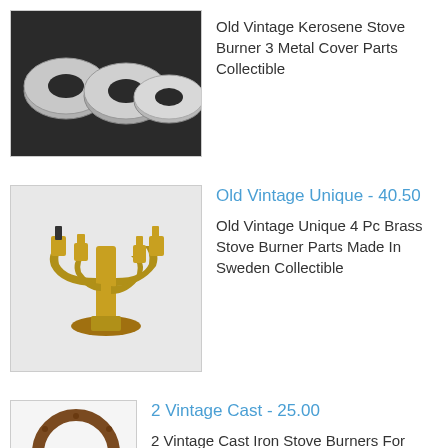[Figure (photo): Three silver/metallic donut-shaped ring parts (kerosene stove burner covers) on a dark background]
Old Vintage Kerosene Stove Burner 3 Metal Cover Parts Collectible
Old Vintage Unique - 40.50
[Figure (photo): Four brass candelabra-style stove burner parts with curved arms, made in Sweden, on a light background]
Old Vintage Unique 4 Pc Brass Stove Burner Parts Made In Sweden Collectible
2 Vintage Cast - 25.00
[Figure (photo): Two circular cast iron stove burners with 12 jets each, rough rusty surface, connected by a rod, on a white background]
2 Vintage Cast Iron Stove Burners For Parts Repair Blacksmith 12 Jets Each